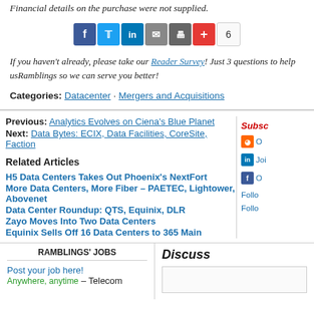Financial details on the purchase were not supplied.
[Figure (other): Social share bar with Facebook, Twitter, LinkedIn, Email, Print, Plus icons and count of 6]
If you haven't already, please take our Reader Survey! Just 3 questions to help us… Ramblings so we can serve you better!
Categories: Datacenter · Mergers and Acquisitions
Previous: Analytics Evolves on Ciena's Blue Planet
Next: Data Bytes: ECIX, Data Facilities, CoreSite, Faction
Related Articles
H5 Data Centers Takes Out Phoenix's NextFort
More Data Centers, More Fiber – PAETEC, Lightower, Abovenet
Data Center Roundup: QTS, Equinix, DLR
Zayo Moves Into Two Data Centers
Equinix Sells Off 16 Data Centers to 365 Main
Subscribe sidebar: Subsc… O… Join… O… Follo… Follo…
RAMBLINGS' JOBS
Post your job here!
Anywhere, anytime – Telecom
Discuss